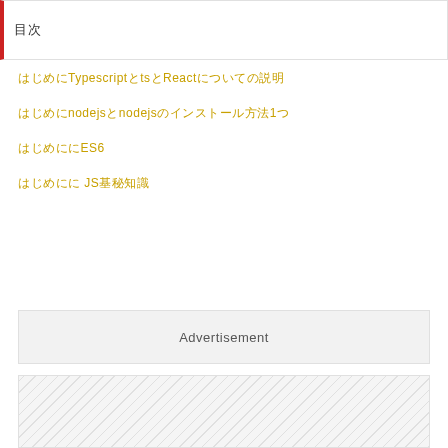目次
はじめにTypescriptとtsとReactについての説明
はじめにnodejsとnodejsのインストール方法1つ
はじめにES6
はじめに JS基礎知識
Advertisement
[Figure (other): Diagonal striped pattern placeholder box]